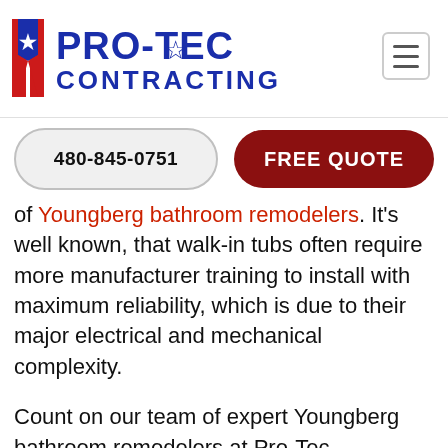[Figure (logo): Pro-Tec Contracting logo with red and blue design featuring star icon and two vertical bars on left, with blue bold text PRO-TEC CONTRACTING]
480-845-0751
FREE QUOTE
of Youngberg bathroom remodelers. It's well known, that walk-in tubs often require more manufacturer training to install with maximum reliability, which is due to their major electrical and mechanical complexity.
Count on our team of expert Youngberg bathroom remodelers at Pro-Tec Contracting to assist you! Our craftsmen are the most experienced walk-in tub installers in the